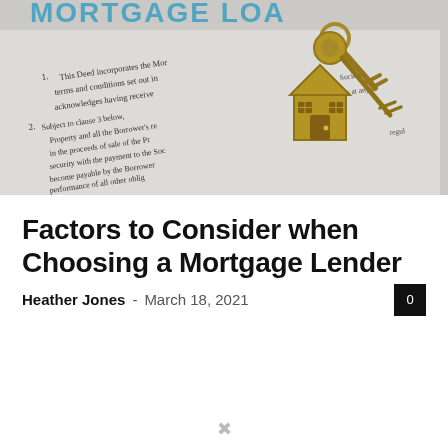[Figure (photo): A photograph of a mortgage loan document with a house-shaped keychain and keys resting on top. The document shows partial text including 'MORTGAGE LOAN', 'This Deed incorporates the Mor...', 'terms and conditions set out in...', 'acknowledges having receive...', 'Subject to clause 3 below...', 'Property and all the Borrower's re...', 'in the proceeds of sale of the Pr...', 'security with the payment to the So...', 'become payable by the Borrower...', 'performance of all other oblig...' The keychain is gold/bronze colored in the shape of a house.]
Factors to Consider when Choosing a Mortgage Lender
Heather Jones – March 18, 2021